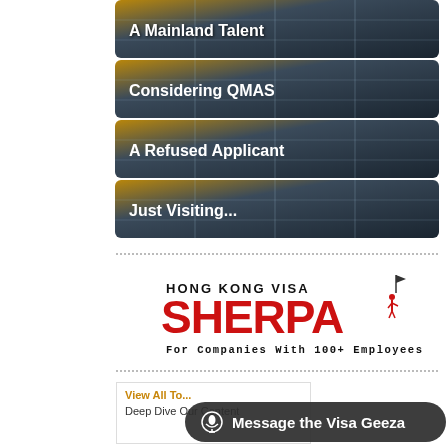[Figure (illustration): Menu button with building glass facade background labeled 'A Mainland Talent']
[Figure (illustration): Menu button with building glass facade background labeled 'Considering QMAS']
[Figure (illustration): Menu button with building glass facade background labeled 'A Refused Applicant']
[Figure (illustration): Menu button with building glass facade background labeled 'Just Visiting...']
[Figure (logo): Hong Kong Visa Sherpa logo - red text 'SHERPA' with figure on mountain and flag, tagline 'For Companies With 100+ Employees']
View All To...
Deep Dive Our Content
Message the Visa Geeza